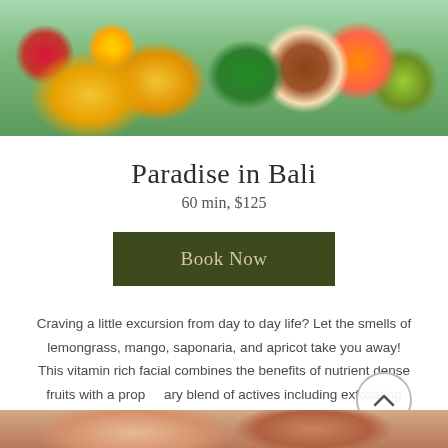[Figure (photo): Colorful tropical fruits including mango, dragon fruit, coconut, lime, orange, and papaya arranged on palm leaves against a light green background]
Paradise in Bali
60 min, $125
Book Now
Craving a little excursion from day to day life? Let the smells of lemongrass, mango, saponaria, and apricot take you away! This vitamin rich facial combines the benefits of nutrient dense fruits with a proprietary blend of actives including exfoliating lactic acid, vitamin c, beta carotenes, and deeply hydrating hyaluronic acid. You will leave feeling and smelling like you just got back from a tropical paradise!
[Figure (photo): Close-up of hands performing a massage or facial treatment]